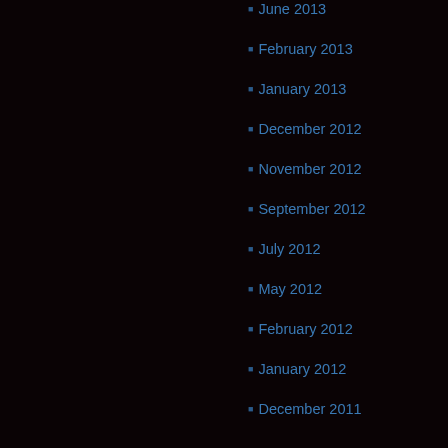June 2013
February 2013
January 2013
December 2012
November 2012
September 2012
July 2012
May 2012
February 2012
January 2012
December 2011
November 2011
October 2011
August 2011
July 2011
June 2011
May 2011
April 2011
February 2011
December 2010
November 2010
October 2010
September 2010
Categories